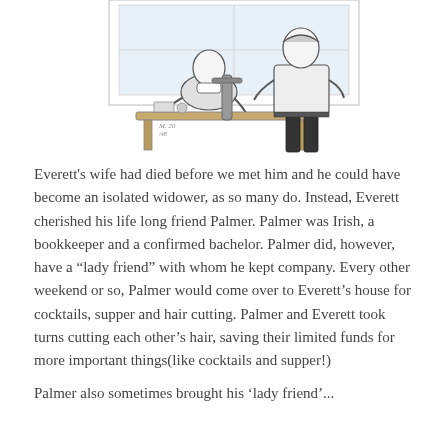[Figure (illustration): Black and white ink illustration showing two men, one seated at a desk/table and one standing, in what appears to be an office or home setting. Items are on the desk.]
Everett's wife had died before we met him and he could have become an isolated widower, as so many do. Instead, Everett cherished his life long friend Palmer. Palmer was Irish, a bookkeeper and a confirmed bachelor. Palmer did, however, have a “lady friend” with whom he kept company. Every other weekend or so, Palmer would come over to Everett’s house for cocktails, supper and hair cutting. Palmer and Everett took turns cutting each other’s hair, saving their limited funds for more important things(like cocktails and supper!)
Palmer also sometimes brought his ‘lady friend’...